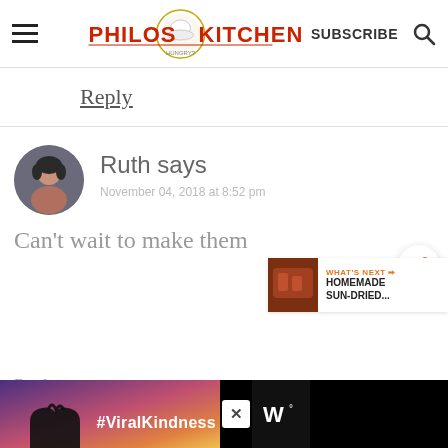Philos Kitchen | SUBSCRIBE
Reply
Ruth says
November 04, 2018 at 8:52 pm
Can't wait to make them
[Figure (screenshot): Advertisement bar at bottom: black background with heart hands silhouette photo, #ViralKindness hashtag text, close button, and streaming service logo]
WHAT'S NEXT → HOMEMADE SUN-DRIED...